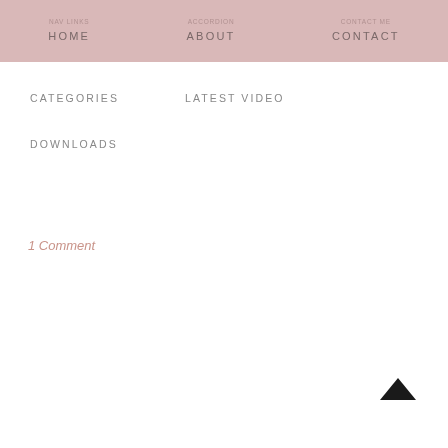HOME | ABOUT | CONTACT
CATEGORIES
LATEST VIDEO
DOWNLOADS
1 Comment